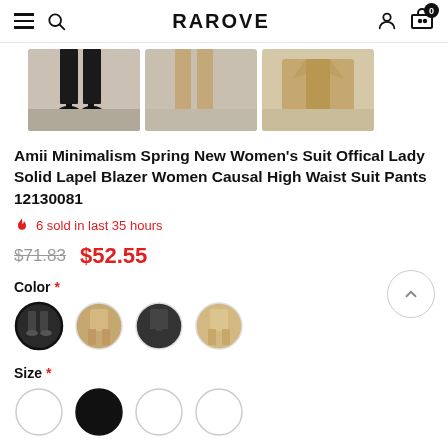RAROVE
[Figure (photo): Three product thumbnail photos showing women's suit pants and blazer: left shows black pants with heels, center shows beige/nude pants legs, right shows beige blazer jacket]
Amii Minimalism Spring New Women's Suit Offical Lady Solid Lapel Blazer Women Causal High Waist Suit Pants 12130081
6 sold in last 35 hours
$71.83  $52.55
Color *
[Figure (photo): Four circular color swatch thumbnails showing product color options: black suit, beige/tan suit, dark/black suit, light tan/camel suit]
Size *
[Figure (photo): Partially visible size selector circles, one selected (black/filled)]